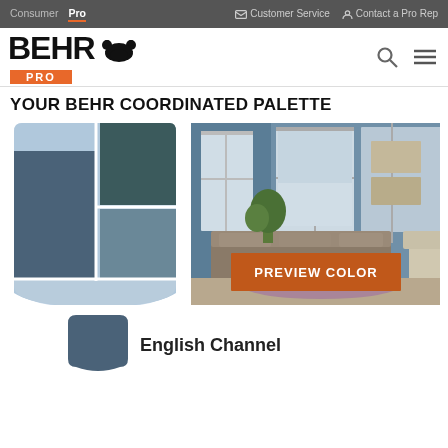Consumer | Pro | Customer Service | Contact a Pro Rep
[Figure (logo): BEHR Pro logo with bear icon and orange PRO badge]
YOUR BEHR COORDINATED PALETTE
[Figure (illustration): Color palette swatch showing coordinated blues: dark slate blue large swatch on left, dark teal swatch upper right, medium blue-grey swatch lower right, light powder blue curved bottom swatch]
[Figure (photo): Living room scene painted in blue tones with windows, sofa, and a large orange PREVIEW COLOR button overlay]
English Channel